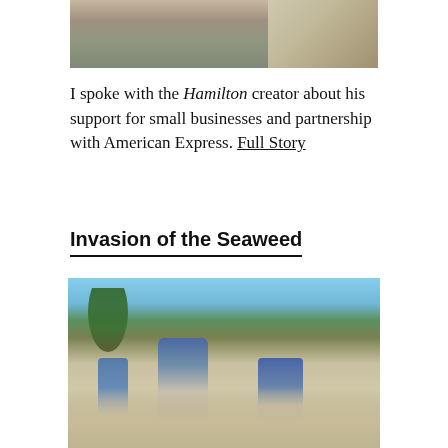[Figure (photo): Top portion of a photo showing two people, partially cropped at top of page]
I spoke with the Hamilton creator about his support for small businesses and partnership with American Express. Full Story
Invasion of the Seaweed
[Figure (photo): Workers cleaning seaweed off a beach resort, palm trees and beach umbrellas in background, sandy beach with dark seaweed patches]